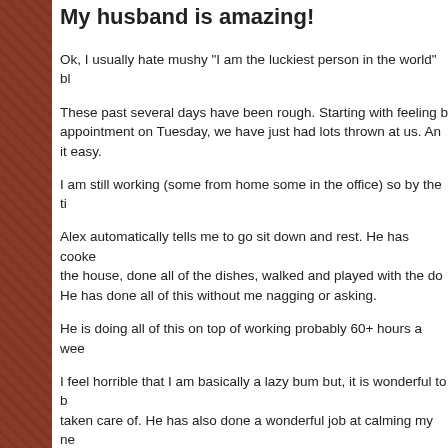My husband is amazing!
Ok, I usually hate mushy "I am the luckiest person in the world" bl
These past several days have been rough.  Starting with feeling b... appointment on Tuesday, we have just had lots thrown at us.  An... it easy.
I am still working (some from home some in the office) so by the ti
Alex automatically tells me to go sit down and rest.  He has cooke... the house, done all of the dishes, walked and played with the do... He has done all of this without me nagging or asking.
He is doing all of this on top of working probably 60+ hours a wee
I feel horrible that I am basically a lazy bum but, it is wonderful to ... taken care of.  He has also done a wonderful job at calming my ne... pep talks about once a day and he rocks at them!
So, thank you Alex for being so wonderful - Kate and I are so bles
Posted by Lindsey B at 11:56 AM